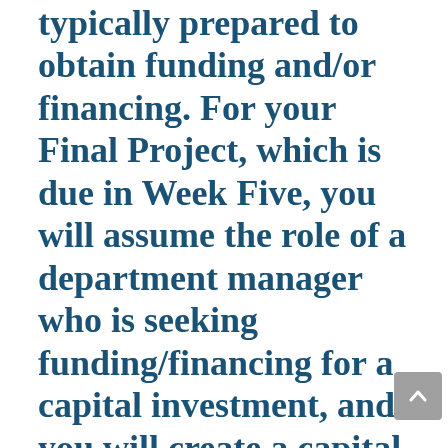typically prepared to obtain funding and/or financing. For your Final Project, which is due in Week Five, you will assume the role of a department manager who is seeking funding/financing for a capital investment, and you will create a capital investment plan to present to your chief financial officer and board. In the scenario you